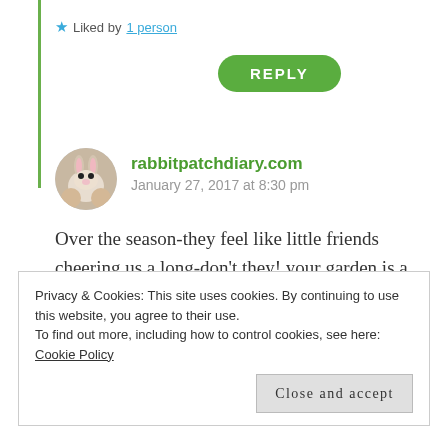★ Liked by 1 person
REPLY
rabbitpatchdiary.com
January 27, 2017 at 8:30 pm
Over the season-they feel like little friends cheering us a long-don't they! your garden is a lovely place for a visit-thank you so much.
★ Liked by 1 person
Privacy & Cookies: This site uses cookies. By continuing to use this website, you agree to their use.
To find out more, including how to control cookies, see here: Cookie Policy
Close and accept
What a sweet room and your pictures let us know